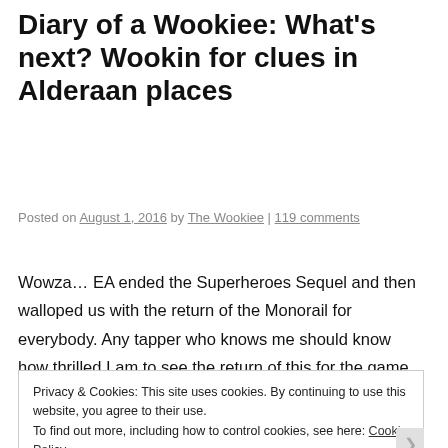Diary of a Wookiee: What's next? Wookin for clues in Alderaan places
Posted on August 1, 2016 by The Wookiee | 119 comments
Wowza… EA ended the Superheroes Sequel and then walloped us with the return of the Monorail for everybody. Any tapper who knows me should know how thrilled I am to see the return of this for the game. I actually finally built some track in my town although I'm not
Privacy & Cookies: This site uses cookies. By continuing to use this website, you agree to their use.
To find out more, including how to control cookies, see here: Cookie Policy
Close and accept